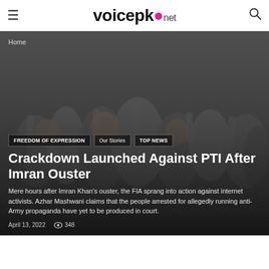voicepk.net
Home
[Figure (photo): Crowd of people with arms raised, dark overlay, used as hero background image for news article]
FREEDOM OF EXPRESSION
Our Stories
TOP NEWS
Crackdown Launched Against PTI After Imran Ouster
Mere hours after Imran Khan's ouster, the FIA sprang into action against internet activists. Azhar Mashwani claims that the people arrested for allegedly running anti-Army propaganda have yet to be produced in court.
April 13, 2022   348